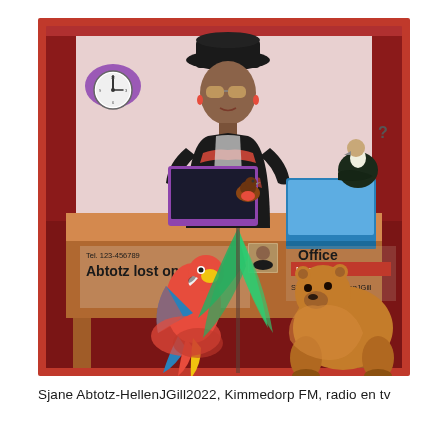[Figure (illustration): A 3D animated scene showing a female avatar character at a desk wearing a black hat and round sunglasses with a patterned outfit. On the desk is a blue laptop, a small robin bird, and a vulture perched on top. There is a wall clock in the upper left. The desk front shows text: 'Tel. 123-456789', 'Abtotz lost op', 'Office Investigator', 'Sjane Abtotz-HellenJGill'. In the foreground is a colorful scarlet macaw parrot, a bear, and green palm fronds. The scene has dark red/maroon walls and wooden desk. A small portrait photo is embedded in the desk sign.]
Sjane Abtotz-HellenJGill2022, Kimmedorp FM, radio en tv